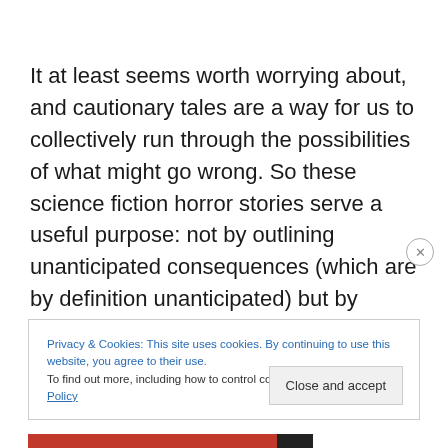It at least seems worth worrying about, and cautionary tales are a way for us to collectively run through the possibilities of what might go wrong. So these science fiction horror stories serve a useful purpose: not by outlining unanticipated consequences (which are by definition unanticipated) but by allowing us to focus on what we think the problems might be. So what do these
Privacy & Cookies: This site uses cookies. By continuing to use this website, you agree to their use.
To find out more, including how to control cookies, see here: Cookie Policy